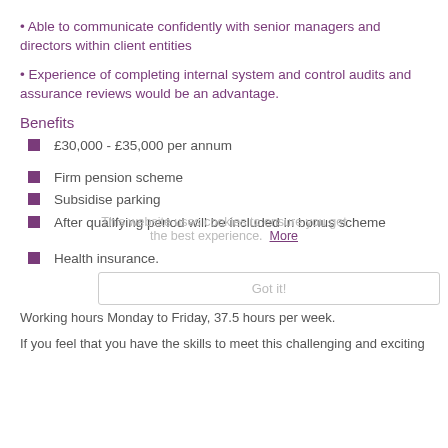• Able to communicate confidently with senior managers and directors within client entities
• Experience of completing internal system and control audits and assurance reviews would be an advantage.
Benefits
£30,000 - £35,000 per annum
Firm pension scheme
Subsidise parking
After qualifying period will be included in bonus scheme
Health insurance.
Working hours Monday to Friday, 37.5 hours per week.
If you feel that you have the skills to meet this challenging and exciting